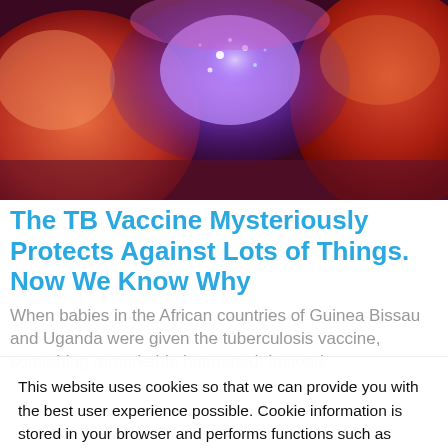[Figure (photo): Close-up microscopic image of cells with vivid pink, red, and purple/blue glowing colors, resembling biological cells or blood cells under fluorescence microscopy.]
The TB Vaccine Mysteriously Protects Against Lots of Things. Now We Know Why
When babies in the African countries of Guinea Bissau and Uganda were given the tuberculosis vaccine, something remarkable happened. Instead
This website uses cookies so that we can provide you with the best user experience possible. Cookie information is stored in your browser and performs functions such as recognizing you when you return to our website and helping our team to understand which sections of the website you find most interesting and useful. NanoApps Medical Inc. Cookie Policy
Accept